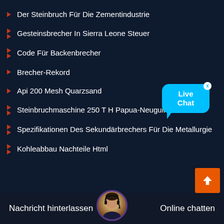Der Steinbruch Für Die Zementindustrie
Gesteinsbrecher In Sierra Leone Steuer
Code Für Backenbrecher
Brecher-Rekord
Api 200 Mesh Quarzsand
Steinbruchmaschine 250 T H Papua-Neuguinea
Spezifikationen Des Sekundärbrechers Für Die Metallurgie
Kohleabbau Nachteile Html
[Figure (other): Live Chat bubble button in cyan/blue color with 'Live Chat' text and close X button]
[Figure (other): Orange back-to-top button with upward chevron arrow]
Nachricht hinterlassen   Online chatten